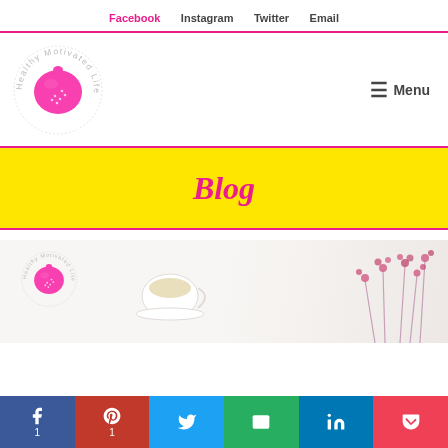Facebook   Instagram   Twitter   Email
[Figure (logo): Healthy Motivated Life lemon logo — circular text around a pink lemon illustration]
☰ Menu
Blog
[Figure (photo): Blog post preview image showing a tea cup and pink flowers on a marble surface, with the Healthy Motivated Life logo watermark]
Facebook 1  Pinterest 1  Twitter  Email  LinkedIn  Pocket — social share bar